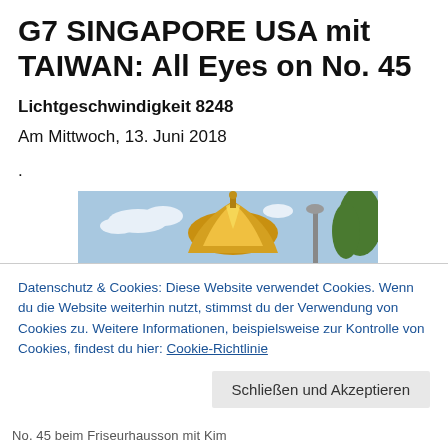G7 SINGAPORE USA mit TAIWAN: All Eyes on No. 45
Lichtgeschwindigkeit 8248
Am Mittwoch, 13. Juni 2018
.
[Figure (photo): Photo showing a golden onion dome of a building against a blue sky with clouds, with a lamp post and trees visible on the right side.]
Datenschutz & Cookies: Diese Website verwendet Cookies. Wenn du die Website weiterhin nutzt, stimmst du der Verwendung von Cookies zu. Weitere Informationen, beispielsweise zur Kontrolle von Cookies, findest du hier: Cookie-Richtlinie
Schließen und Akzeptieren
No. 45 beim Friseurhausson mit Kim